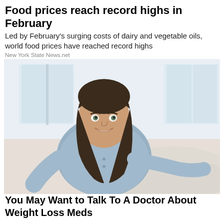Food prices reach record highs in February
Led by February's surging costs of dairy and vegetable oils, world food prices have reached record highs
New York State News.net
[Figure (photo): A smiling plus-size woman with long dark hair wearing a light blue shirt, seated on a sofa in a bright room]
You May Want to Talk To A Doctor About Weight Loss Meds